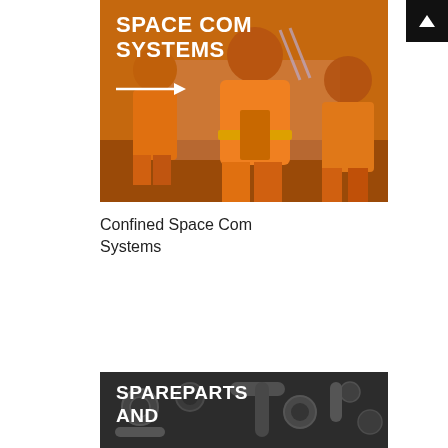[Figure (photo): Workers in orange safety suits/confined space gear walking, with bold white text overlay reading SPACE COM SYSTEMS and a white arrow graphic]
Confined Space Com Systems
[Figure (photo): Dark greyscale photo of mechanical spare parts (bolts, wrenches) with bold white text overlay reading SPAREPARTS AND]